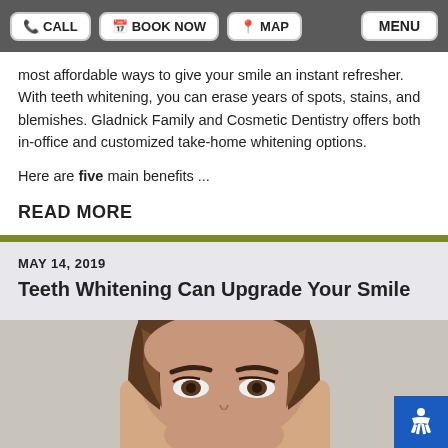CALL | BOOK NOW | MAP | MENU
most affordable ways to give your smile an instant refresher. With teeth whitening, you can erase years of spots, stains, and blemishes. Gladnick Family and Cosmetic Dentistry offers both in-office and customized take-home whitening options.
Here are five main benefits ...
READ MORE
MAY 14, 2019
Teeth Whitening Can Upgrade Your Smile
[Figure (photo): Close-up photo of a woman's face showing her eyes, with brown hair, on a light background]